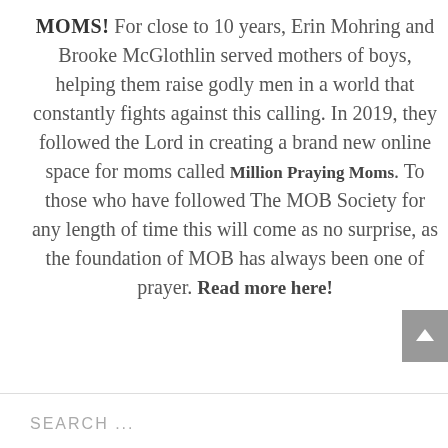MOMS! For close to 10 years, Erin Mohring and Brooke McGlothlin served mothers of boys, helping them raise godly men in a world that constantly fights against this calling. In 2019, they followed the Lord in creating a brand new online space for moms called Million Praying Moms. To those who have followed The MOB Society for any length of time this will come as no surprise, as the foundation of MOB has always been one of prayer. Read more here!
SEARCH ...